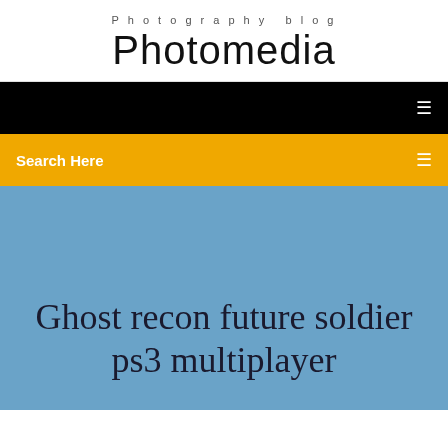Photography blog
Photomedia
[Figure (screenshot): Black navigation bar with a small white icon on the right]
[Figure (screenshot): Orange/gold search bar with 'Search Here' text on left and icon on right]
Ghost recon future soldier ps3 multiplayer